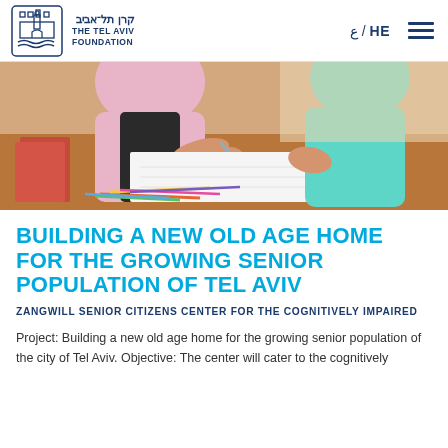The Tel Aviv Foundation | קרן תל־אביב | ع / HE
[Figure (photo): Two elderly people sitting at a wooden table with colored pencils, one writing on paper, the other nearby. Books visible on the left.]
BUILDING A NEW OLD AGE HOME FOR THE GROWING SENIOR POPULATION OF TEL AVIV
ZANGWILL SENIOR CITIZENS CENTER FOR THE COGNITIVELY IMPAIRED
Project: Building a new old age home for the growing senior population of the city of Tel Aviv. Objective: The center will cater to the cognitively...